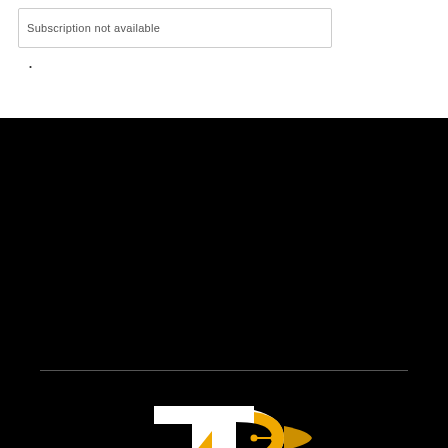Subscription not available
[Figure (logo): TechinPost logo: white and gold 'TP' monogram with circuit/flashlight element on black background, with 'TechinPost' text below in white bold letters]